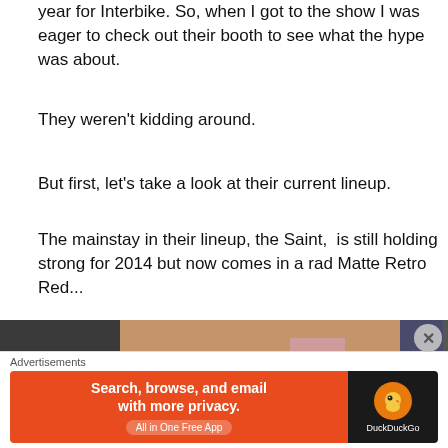year for Interbike. So, when I got to the show I was eager to check out their booth to see what the hype was about.
They weren't kidding around.
But first, let's take a look at their current lineup.
The mainstay in their lineup, the Saint,  is still holding strong for 2014 but now comes in a rad Matte Retro Red...
[Figure (photo): A red BMX bike (Saint model in Matte Retro Red) displayed at an Interbike trade show booth. The bike has black tires, a black seat, and a red frame. Behind the bike is a wooden/cardboard display wall with partial 'BMX' text visible on a sign. People can be seen in the background.]
Advertisements
[Figure (other): DuckDuckGo advertisement banner. Orange/red left side reads 'Search, browse, and email with more privacy. All in One Free App'. Dark right side shows DuckDuckGo logo with duck icon.]